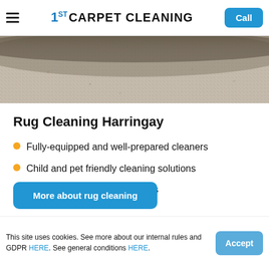1ST CARPET CLEANING | Call
[Figure (photo): Close-up photo of a beige/gray textured carpet or rug surface]
Rug Cleaning Harringay
Fully-equipped and well-prepared cleaners
Child and pet friendly cleaning solutions
Fixed rates, no hidden charges
More about rug cleaning
This site uses cookies. See more about our internal rules and GDPR HERE. See general conditions HERE.